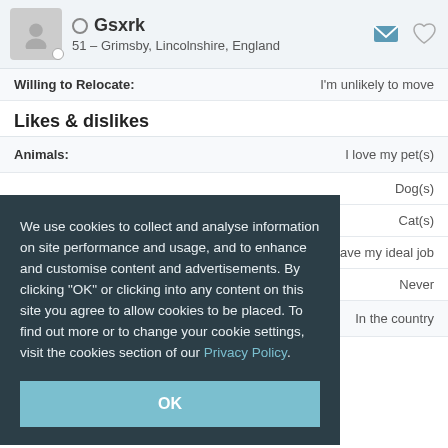Gsxrk – 51 – Grimsby, Lincolnshire, England
Willing to Relocate: I'm unlikely to move
Likes & dislikes
Animals: I love my pet(s)
Dog(s)
Cat(s)
have my ideal job
Never
Dream home: In the country
We use cookies to collect and analyse information on site performance and usage, and to enhance and customise content and advertisements. By clicking "OK" or clicking into any content on this site you agree to allow cookies to be placed. To find out more or to change your cookie settings, visit the cookies section of our Privacy Policy.